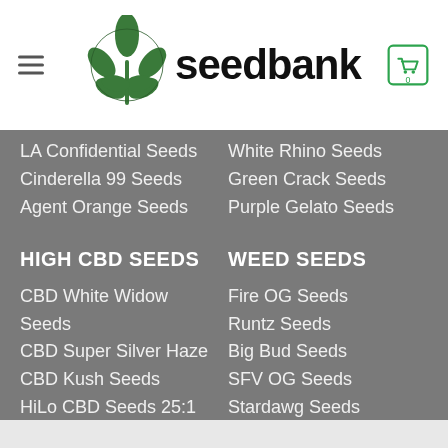seedbank
LA Confidential Seeds
Cinderella 99 Seeds
Agent Orange Seeds
White Rhino Seeds
Green Crack Seeds
Purple Gelato Seeds
HIGH CBD SEEDS
CBD White Widow Seeds
CBD Super Silver Haze
CBD Kush Seeds
HiLo CBD Seeds 25:1
CBD Sour Tangie Seeds
CBD Jack Herer Seeds
WEED SEEDS
Fire OG Seeds
Runtz Seeds
Big Bud Seeds
SFV OG Seeds
Stardawg Seeds
MK Ultra Seeds